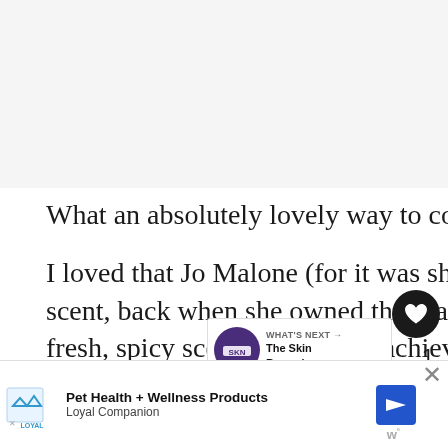[Figure (photo): Blank/light gray image area at top of page, likely an article image placeholder]
What an absolutely lovely way to commemorate the address!
I loved that Jo Malone (for it was she who created the scent, back when she owned the brand) picked this fresh, spicy scent to mark her achievement, really suited to a building and location. It isn't sweet and fl…
[Figure (other): What's Next promo overlay showing a circular product thumbnail and text 'WHAT'S NEXT → The Skin Renewing...']
[Figure (other): Ad banner: Pet Health + Wellness Products — Loyal Companion, with navigation arrow icon and close button]